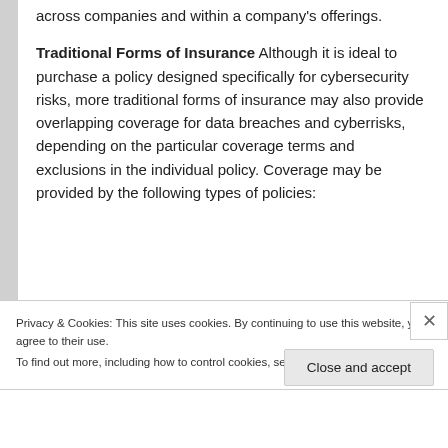across companies and within a company's offerings.
Traditional Forms of Insurance  Although it is ideal to purchase a policy designed specifically for cybersecurity risks, more traditional forms of insurance may also provide overlapping coverage for data breaches and cyberrisks, depending on the particular coverage terms and exclusions in the individual policy.  Coverage may be provided by the following types of policies:
Privacy & Cookies: This site uses cookies. By continuing to use this website, you agree to their use.
To find out more, including how to control cookies, see here: Cookie Policy